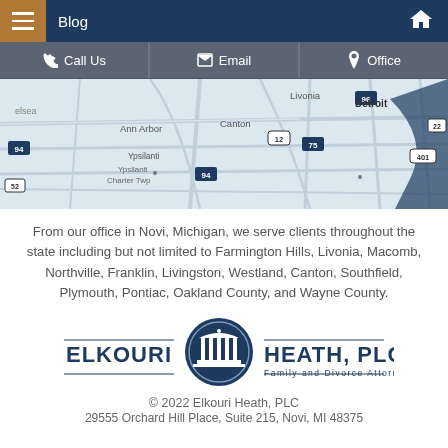Blog
Call Us | Email | Office
[Figure (map): Road map showing southeastern Michigan area including Detroit, Ann Arbor, Canton, Livonia, Ypsilanti, and surrounding cities with highway markers for I-94, I-75, I-96, US-12, and other routes.]
From our office in Novi, Michigan, we serve clients throughout the state including but not limited to Farmington Hills, Livonia, Macomb, Northville, Franklin, Livingston, Westland, Canton, Southfield, Plymouth, Pontiac, Oakland County, and Wayne County.
[Figure (logo): Elkouri Heath, PLC logo with columned building icon in a circular seal. Text reads ELKOURI HEATH, PLC Family and Divorce Attorneys]
© 2022 Elkouri Heath, PLC
29555 Orchard Hill Place, Suite 215, Novi, MI 48375